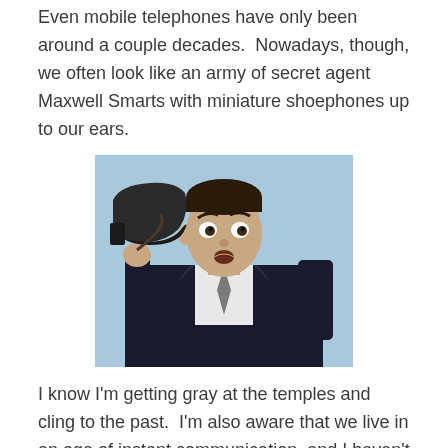Even mobile telephones have only been around a couple decades.  Nowadays, though, we often look like an army of secret agent Maxwell Smarts with miniature shoephones up to our ears.
[Figure (photo): A man in a suit holding a shoe up to his ear as if it were a telephone, referencing the TV character Maxwell Smart. Light blue background.]
I know I'm getting gray at the temples and cling to the past.  I'm also aware that we live in an age of instant communication, and I haven't totally embraced it yet.  And I plead guilty to rudeness myself.  I once glanced at my cellphone during a meeting at work – I don't always agree with my boss, but he was right when he